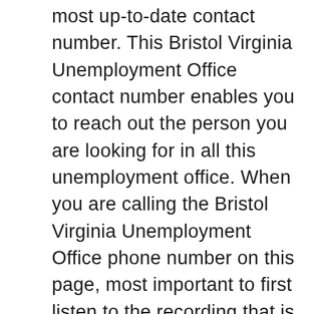most up-to-date contact number. This Bristol Virginia Unemployment Office contact number enables you to reach out the person you are looking for in all this unemployment office. When you are calling the Bristol Virginia Unemployment Office phone number on this page, most important to first listen to the recording that is played that enables you to reach out to the destination person fast.